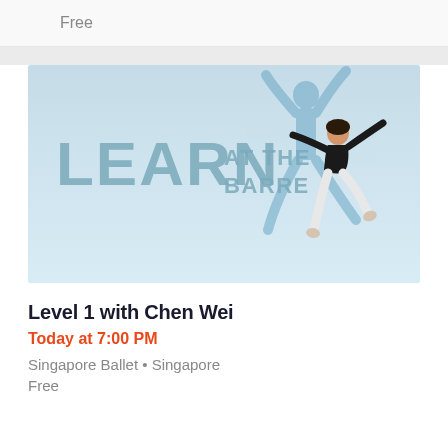Free
[Figure (illustration): Promotional banner for 'Learn at the Barre' showing a male ballet dancer in a black top and white tights leaping mid-air, with a blue silhouette dancer in the background, on a light blue gradient background. Large text reads 'LEARN AT THE BARRE'.]
Level 1 with Chen Wei
Today at 7:00 PM
Singapore Ballet • Singapore
Free